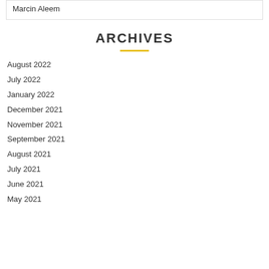Marcin Aleem
ARCHIVES
August 2022
July 2022
January 2022
December 2021
November 2021
September 2021
August 2021
July 2021
June 2021
May 2021